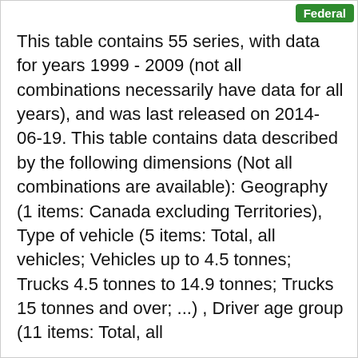Federal
This table contains 55 series, with data for years 1999 - 2009 (not all combinations necessarily have data for all years), and was last released on 2014-06-19. This table contains data described by the following dimensions (Not all combinations are available): Geography (1 items: Canada excluding Territories), Type of vehicle (5 items: Total, all vehicles; Vehicles up to 4.5 tonnes; Trucks 4.5 tonnes to 14.9 tonnes; Trucks 15 tonnes and over; ...) , Driver age group (11 items: Total, all